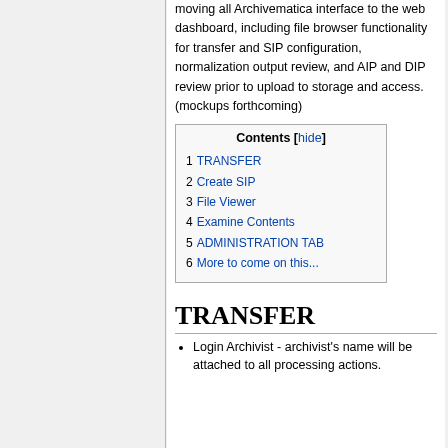moving all Archivematica interface to the web dashboard, including file browser functionality for transfer and SIP configuration, normalization output review, and AIP and DIP review prior to upload to storage and access. (mockups forthcoming)
| Contents [hide] |
| --- |
| 1 TRANSFER |
| 2 Create SIP |
| 3 File Viewer |
| 4 Examine Contents |
| 5 ADMINISTRATION TAB |
| 6 More to come on this... |
TRANSFER
Login Archivist - archivist's name will be attached to all processing actions.